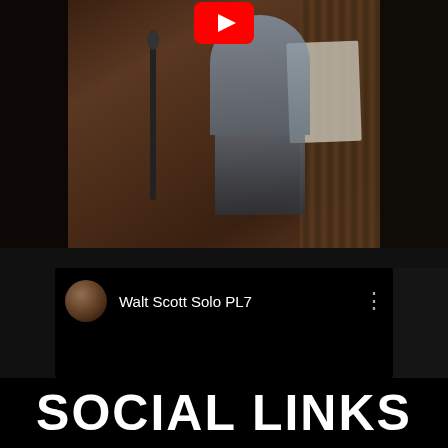[Figure (screenshot): YouTube video thumbnail showing a musician in a recording studio with a music stand and microphones, with YouTube play button icon overlay at top]
Walt Scott Solo PL7
SOCIAL LINKS